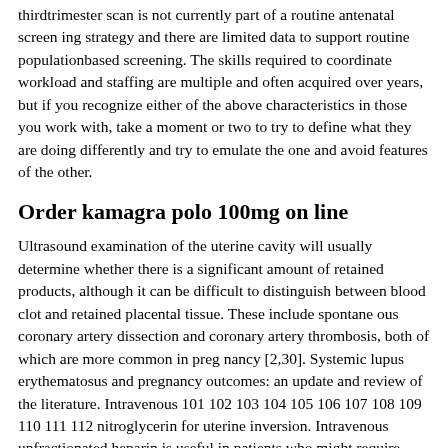thirdtrimester scan is not currently part of a routine antenatal screen ing strategy and there are limited data to support routine populationbased screening. The skills required to coordinate workload and staffing are multiple and often acquired over years, but if you recognize either of the above characteristics in those you work with, take a moment or two to try to define what they are doing differently and try to emulate the one and avoid features of the other.
Order kamagra polo 100mg on line
Ultrasound examination of the uterine cavity will usually determine whether there is a significant amount of retained products, although it can be difficult to distinguish between blood clot and retained placental tissue. These include spontane ous coronary artery dissection and coronary artery thrombosis, both of which are more common in preg nancy [2,30]. Systemic lupus erythematosus and pregnancy outcomes: an update and review of the literature. Intravenous 101 102 103 104 105 106 107 108 109 110 111 112 nitroglycerin for uterine inversion. Intravenous unfractionated heparin is useful in patients who might require their anticoagula tion to be stopped quickly, for example those at high risk of bleeding or those in severe renal failure. Cyclical administration of progestogens for less than 21 days each cycle in ovulatory women is of no benefit. In women with infertility as a